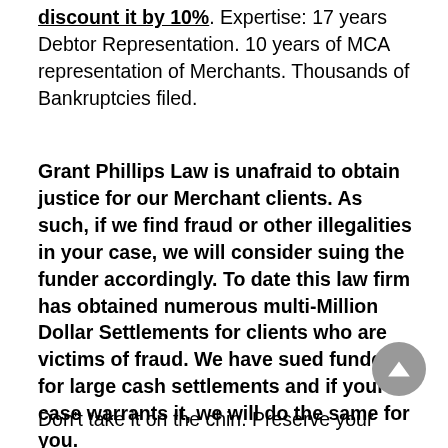discount it by 10%. Expertise: 17 years Debtor Representation. 10 years of MCA representation of Merchants. Thousands of Bankruptcies filed.
Grant Phillips Law is unafraid to obtain justice for our Merchant clients. As such, if we find fraud or other illegalities in your case, we will consider suing the funder accordingly. To date this law firm has obtained numerous multi-Million Dollar Settlements for clients who are victims of fraud. We have sued funders for large cash settlements and if your case warrants it, we will do the same for you.
Don't take it on the chin. Preserve your